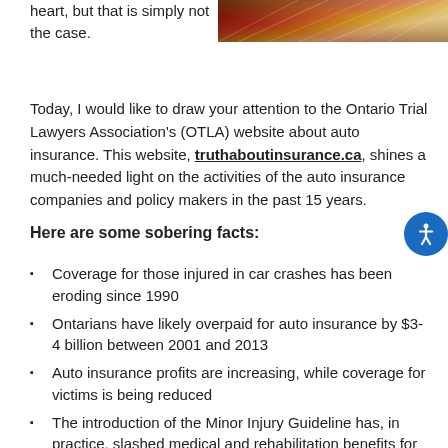[Figure (photo): Colorful abstract streaks of light, red and gold tones, cropped at top right of page]
heart, but that is simply not the case.
Today, I would like to draw your attention to the Ontario Trial Lawyers Association's (OTLA) website about auto insurance. This website, truthaboutinsurance.ca, shines a much-needed light on the activities of the auto insurance companies and policy makers in the past 15 years.
Here are some sobering facts:
Coverage for those injured in car crashes has been eroding since 1990
Ontarians have likely overpaid for auto insurance by $3-4 billion between 2001 and 2013
Auto insurance profits are increasing, while coverage for victims is being reduced
The introduction of the Minor Injury Guideline has, in practice, slashed medical and rehabilitation benefits for nearly 80% of injured victims from $100,000 to $3,500
Auto insurance companies are able to make significant profits because the Return on Equity (ROE) benchmark is